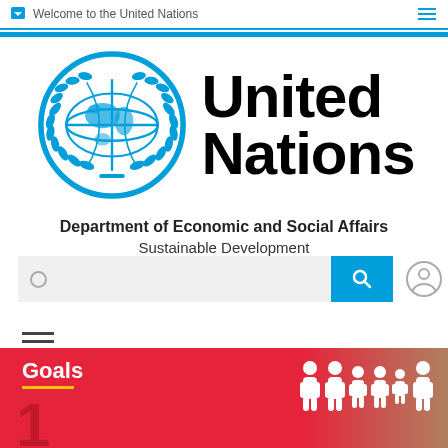Welcome to the United Nations
[Figure (logo): United Nations emblem - blue globe with laurel wreath]
United Nations
Department of Economic and Social Affairs
Sustainable Development
[Figure (screenshot): Search bar with search button and user icon]
[Figure (infographic): Hamburger menu icon]
Goals
[Figure (infographic): Family icons (people silhouettes) on red gradient background]
1